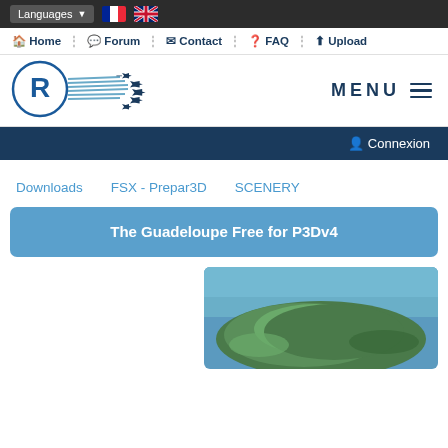Languages ▼ [FR flag] [UK flag]
🏠 Home  ⋮  💬 Forum  ⋮  ✉ Contact  ⋮  ❓ FAQ  ⋮  ⬆ Upload
[Figure (logo): R logo with airplane formation and speed lines, circular border]
MENU ≡
👤 Connexion
Downloads   FSX - Prepar3D   SCENERY
The Guadeloupe Free for P3Dv4
[Figure (photo): Aerial photo of Guadeloupe island showing green landmass and blue ocean]